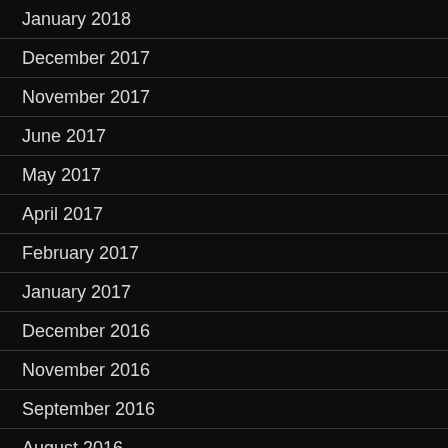January 2018
December 2017
November 2017
June 2017
May 2017
April 2017
February 2017
January 2017
December 2016
November 2016
September 2016
August 2016